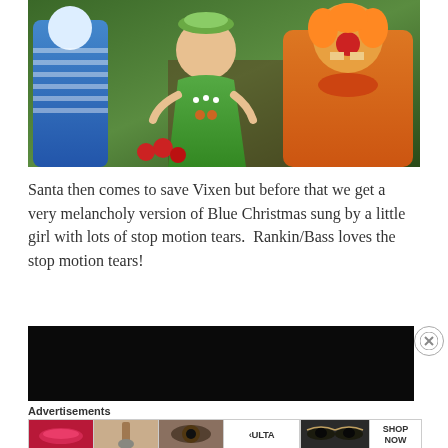[Figure (photo): Stop-motion puppet characters: a blue glittery figure on the left, a green-dressed character in the middle with a bird nest hat, and an angry orange-faced character on the right. Red apples visible in the foreground.]
Santa then comes to save Vixen but before that we get a very melancholy version of Blue Christmas sung by a little girl with lots of stop motion tears.  Rankin/Bass loves the stop motion tears!
[Figure (screenshot): Black video player block]
Advertisements
[Figure (screenshot): ULTA beauty advertisement strip with makeup imagery and SHOP NOW button]